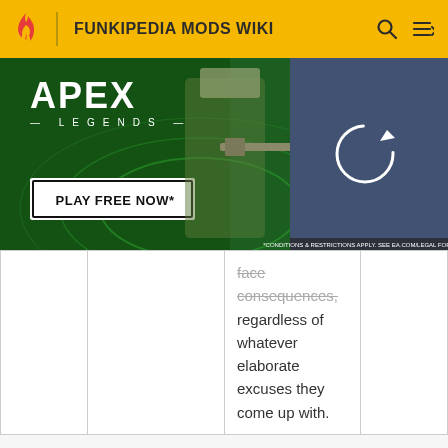FUNKIPEDIA MODS WIKI
[Figure (screenshot): Apex Legends advertisement banner with 'PLAY FREE NOW' button, showing game characters with weapons on a green background]
|  |  | face consequences, regardless of whatever elaborate excuses they come up with. |  |
These are the rules related to making comments on articles (when they are on) or leaving messages on other